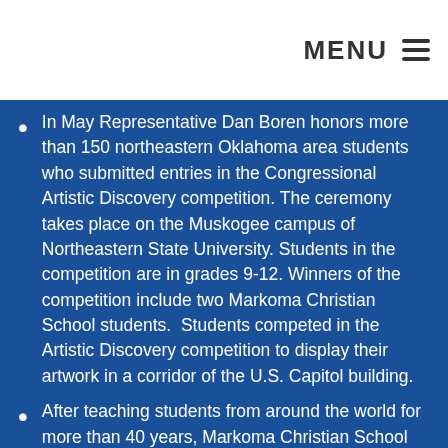MENU
In May Representative Dan Boren honors more than 150 northeastern Oklahoma area students who submitted entries in the Congressional Artistic Discovery competition. The ceremony takes place on the Muskogee campus of Northeastern State University. Students in the competition are in grades 9-12. Winners of the competition include two Markoma Christian School students.  Students competed in the Artistic Discovery competition to display their artwork in a corridor of the U.S. Capitol building.
After teaching students from around the world for more than 40 years, Markoma Christian School closes its doors due to declining student enrollment and financial